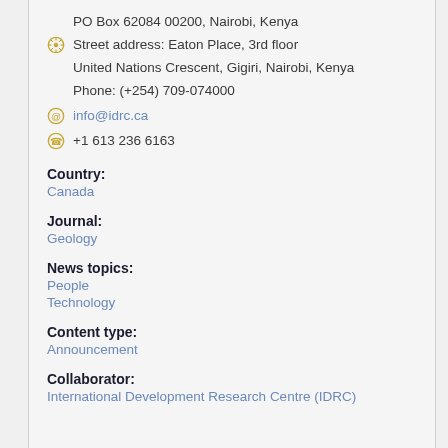PO Box 62084 00200, Nairobi, Kenya
Street address: Eaton Place, 3rd floor
United Nations Crescent, Gigiri, Nairobi, Kenya
Phone: (+254) 709-074000
info@idrc.ca
+1 613 236 6163
Country:
Canada
Journal:
Geology
News topics:
People
Technology
Content type:
Announcement
Collaborator:
International Development Research Centre (IDRC)